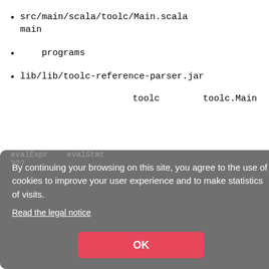src/main/scala/toolc/Main.scala main
programs
lib/lib/toolc-reference-parser.jar
toolc        toolc.Main
By continuing your browsing on this site, you agree to the use of cookies to improve your user experience and to make statistics of visits.
Read the legal notice
OK